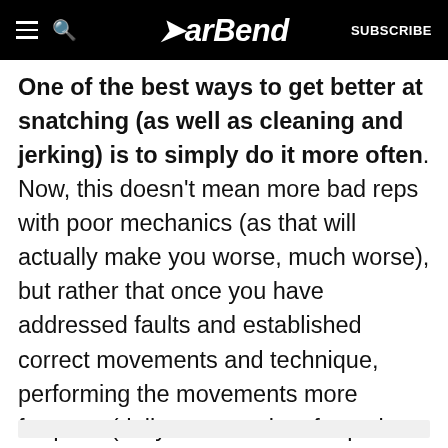BarBend — SUBSCRIBE
One of the best ways to get better at snatching (as well as cleaning and jerking) is to simply do it more often. Now, this doesn't mean more bad reps with poor mechanics (as that will actually make you worse, much worse), but rather that once you have addressed faults and established correct movements and technique, performing the movements more frequent (daily versus a lot of reps in one day) will allow your nervous system to adapt and learn more effectively.